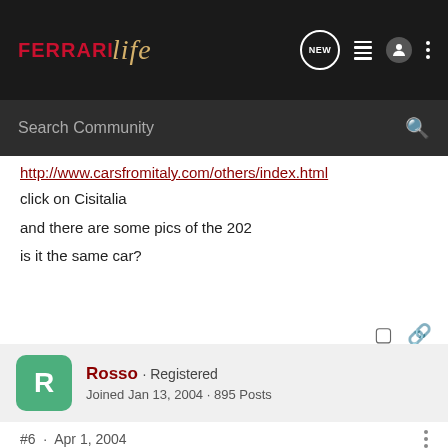Ferrari Life - NEW [icons]
http://www.carsfromitaly.com/others/index.html
click on Cisitalia
and there are some pics of the 202
is it the same car?
Rosso · Registered
Joined Jan 13, 2004 · 895 Posts
#6 · Apr 1, 2004
😱😱
That must have been an awesome sight and a great suprise